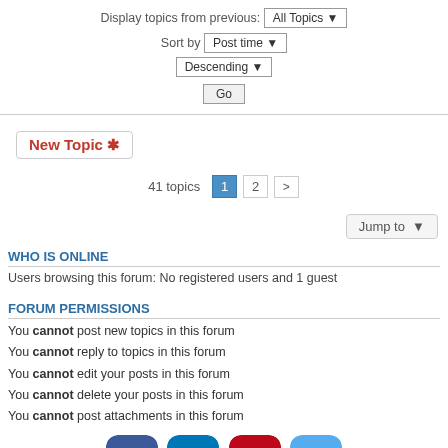Display topics from previous: All Topics ▼
Sort by Post time ▼
Descending ▼
Go
New Topic ✱
41 topics  1  2  >
Jump to
WHO IS ONLINE
Users browsing this forum: No registered users and 1 guest
FORUM PERMISSIONS
You cannot post new topics in this forum
You cannot reply to topics in this forum
You cannot edit your posts in this forum
You cannot delete your posts in this forum
You cannot post attachments in this forum
[Figure (logo): Social media icons: Facebook, LinkedIn, Pinterest, Twitter]
Home · Board index   Contact us   The team   ≡   Powered by phpBB® Forum Software © phpBB Limited